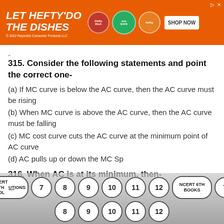[Figure (screenshot): Advertisement banner for Hefty dish soap products with orange background, product images, and 'SHOP NOW' button]
315. Consider the following statements and point the correct one-
(a) If MC curve is below the AC curve, then the AC curve must be rising
(b) When MC curve is above the AC curve, then the AC curve must be falling
(c) MC cost curve cuts the AC curve at the minimum point of AC curve
(d) AC pulls up or down the MC Sp
316. When AC is at its minimum, then-
(a) AC = MC
NCERT 6TH SOLUTIONS  7  8  9  10  11  12  NCERT 6TH BOOKS  7  8  9  10  11  12